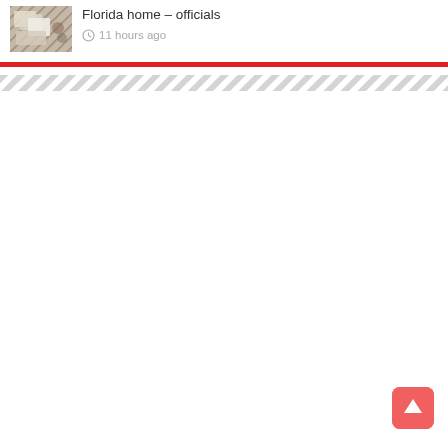[Figure (photo): Thumbnail photo of documents/papers spread on a surface]
Florida home – officials
11 hours ago
[Figure (other): Red horizontal divider bar]
[Figure (other): Diagonal stripe pattern bar]
[Figure (other): Back to top button with upward arrow, red rounded square]